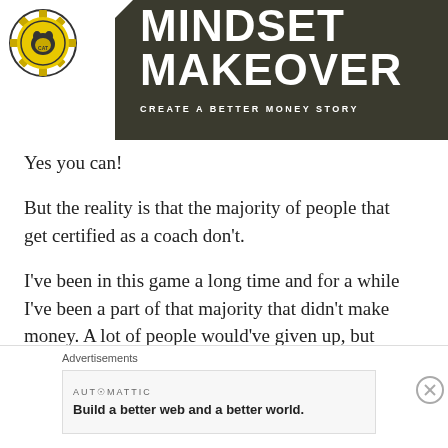[Figure (logo): Chat N Coach Cat logo — circular gear/cog badge with cat silhouette in yellow and black]
MINDSET MAKEOVER
CREATE A BETTER MONEY STORY
Yes you can!
But the reality is that the majority of people that get certified as a coach don't.
I've been in this game a long time and for a while I've been a part of that majority that didn't make money. A lot of people would've given up, but instead I got really intrigued by what was going on. I was on a quest to find
Advertisements
AUT⊙MATTIC
Build a better web and a better world.